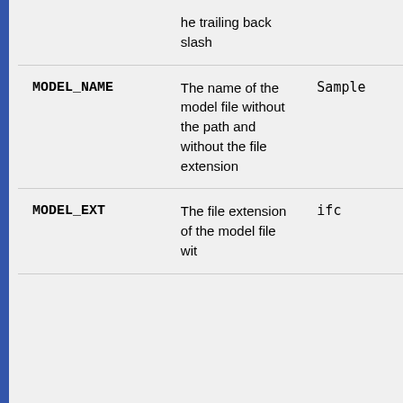| Name | Description | Example |
| --- | --- | --- |
|  | he trailing back slash |  |
| MODEL_NAME | The name of the model file without the path and without the file extension | Sample |
| MODEL_EXT | The file extension of the model file wit | ifc |